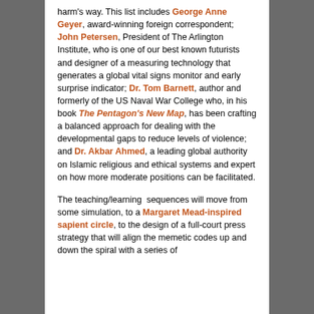harm's way. This list includes George Anne Geyer, award-winning foreign correspondent; John Petersen, President of The Arlington Institute, who is one of our best known futurists and designer of a measuring technology that generates a global vital signs monitor and early surprise indicator; Dr. Tom Barnett, author and formerly of the US Naval War College who, in his book The Pentagon's New Map, has been crafting a balanced approach for dealing with the developmental gaps to reduce levels of violence; and Dr. Akbar Ahmed, a leading global authority on Islamic religious and ethical systems and expert on how more moderate positions can be facilitated.
The teaching/learning sequences will move from some simulation, to a Margaret Mead-inspired sapient circle, to the design of a full-court press strategy that will align the memetic codes up and down the spiral with a series of